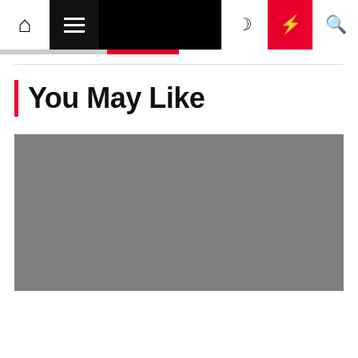Navigation bar with home, menu, dark mode, lightning, and search icons
You May Like
[Figure (photo): Gray placeholder image for an article thumbnail]
Business Entrepreneur
Business